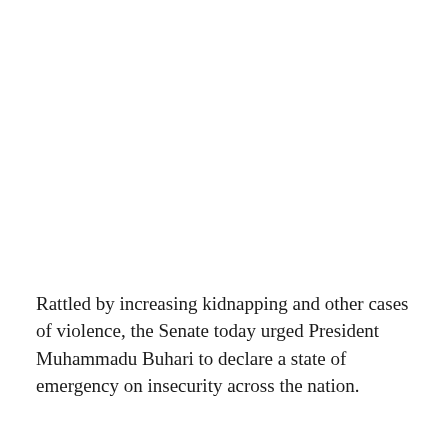Rattled by increasing kidnapping and other cases of violence, the Senate today urged President Muhammadu Buhari to declare a state of emergency on insecurity across the nation.